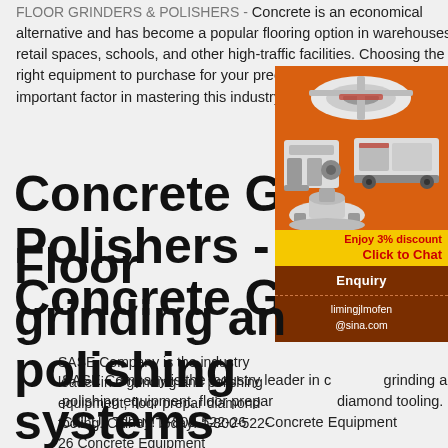FLOOR GRINDERS & POLISHERS - Concrete is an economical alternative and has become a popular flooring option in warehouses, retail spaces, schools, and other high-traffic facilities. Choosing the right equipment to purchase for your precise project size is a very important factor in mastering this industry.
Concrete Grinder Polishers - SASE Concrete Grinder
SASE Company is the industry leader in concrete grinding and polishing equipment, floor preparation and diamond tooling. Call Us Today! 1-800-522-26... Concrete Equipment
[Figure (other): Advertisement panel with orange background showing industrial grinding/crushing machines, a yellow 'Enjoy 3% discount' bar, a red 'Click to Chat' button, a dark Enquiry section, and email limingjlmofen@sina.com]
Floor grinding and polishing systems